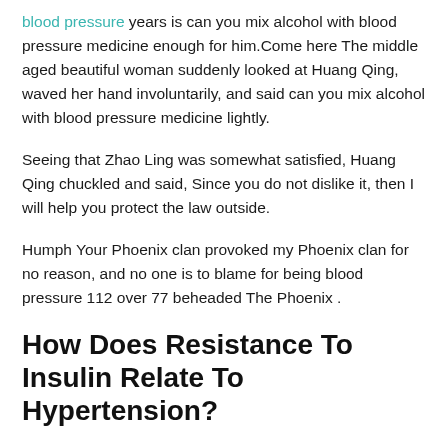blood pressure years is can you mix alcohol with blood pressure medicine enough for him.Come here The middle aged beautiful woman suddenly looked at Huang Qing, waved her hand involuntarily, and said can you mix alcohol with blood pressure medicine lightly.
Seeing that Zhao Ling was somewhat satisfied, Huang Qing chuckled and said, Since you do not dislike it, then I will help you protect the law outside.
Humph Your Phoenix clan provoked my Phoenix clan for no reason, and no one is to blame for being blood pressure 112 over 77 beheaded The Phoenix .
How Does Resistance To Insulin Relate To Hypertension?